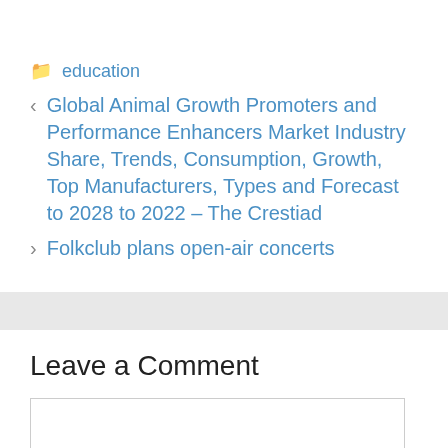education
< Global Animal Growth Promoters and Performance Enhancers Market Industry Share, Trends, Consumption, Growth, Top Manufacturers, Types and Forecast to 2028 to 2022 – The Crestiad
> Folkclub plans open-air concerts
Leave a Comment